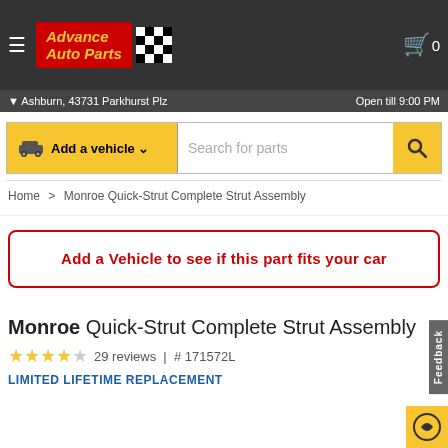[Figure (logo): Advance Auto Parts logo with red background and yellow italic text, accompanied by a checkered flag icon]
Ashburn, 43731 Parkhurst Plz | Open till 9:00 PM
Add a vehicle ∨ | Search for parts
Home > Monroe Quick-Strut Complete Strut Assembly
Add a Vehicle to see if this part fits your car
Monroe Quick-Strut Complete Strut Assembly
★★★★☆ 29 reviews | # 171572L
LIMITED LIFETIME REPLACEMENT